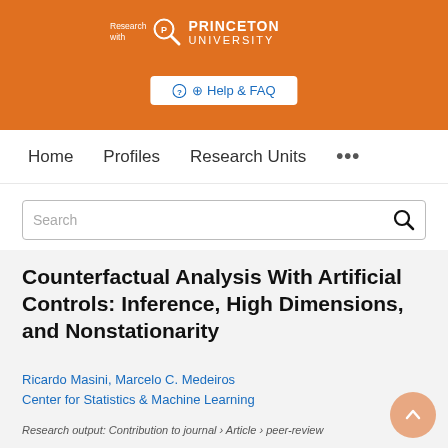[Figure (logo): Research with Princeton University logo with magnifying glass icon on orange background]
⊕ Help & FAQ
Home   Profiles   Research Units   ...
Search
Counterfactual Analysis With Artificial Controls: Inference, High Dimensions, and Nonstationarity
Ricardo Masini, Marcelo C. Medeiros
Center for Statistics & Machine Learning
Research output: Contribution to journal › Article › peer-review